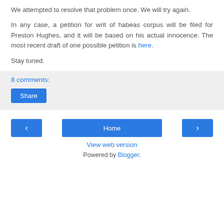We attempted to resolve that problem once. We will try again.
In any case, a petition for writ of habeas corpus will be filed for Preston Hughes, and it will be based on his actual innocence. The most recent draft of one possible petition is here.
Stay tuned.
8 comments:
Share
Home
View web version
Powered by Blogger.